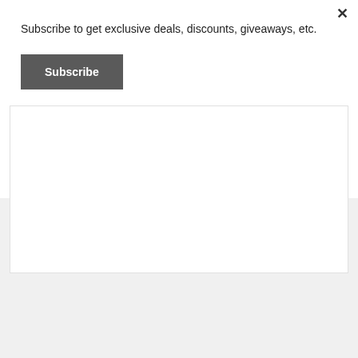Subscribe to get exclusive deals, discounts, giveaways, etc.
Subscribe
[Figure (other): White content area box with light border]
[Figure (other): Triangle arrow-up icon in light blue/teal]
[Figure (other): Circle X close button icon]
Advertisements
[Figure (other): Macy's advertisement banner: KISS BORING LIPS GOODBYE with SHOP NOW button and macys star logo, woman's face/lips photo]